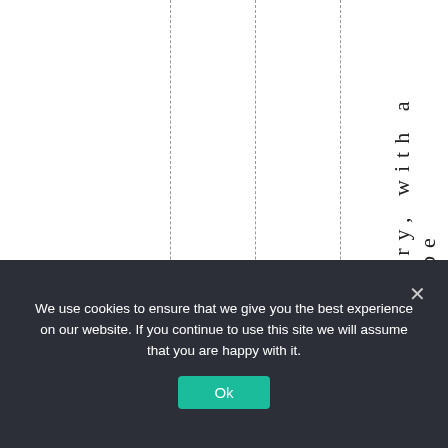jittery, with a numbe
We use cookies to ensure that we give you the best experience on our website. If you continue to use this site we will assume that you are happy with it.